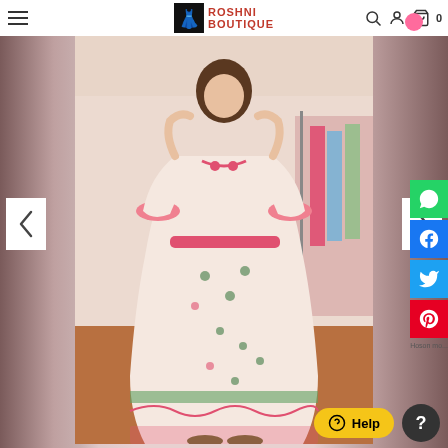[Figure (screenshot): E-commerce website screenshot of Roshni Boutique showing a woman wearing a pink floral maxi dress with ruffle sleeves and hem, displayed in a boutique store. The page includes navigation bar with logo, left/right carousel arrows, social share buttons (WhatsApp, Facebook, Twitter, Pinterest) on the right edge, and a Help button at the bottom.]